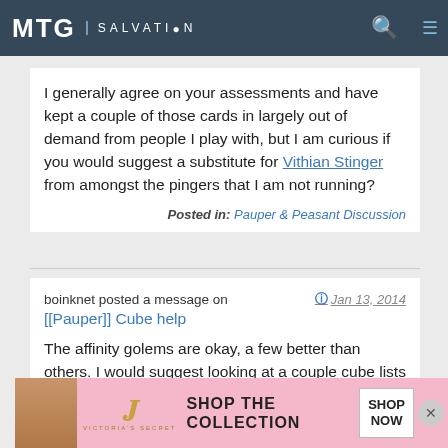MTG SALVATION
I generally agree on your assessments and have kept a couple of those cards in largely out of demand from people I play with, but I am curious if you would suggest a substitute for Vithian Stinger from amongst the pingers that I am not running?
Posted in: Pauper & Peasant Discussion
boinknet posted a message on Jan 13, 2014 [[Pauper]] Cube help
The affinity golems are okay, a few better than others. I would suggest looking at a couple cube lists to see what people run.
Posted in: Pauper & Peasant Discussion
[Figure (screenshot): Victoria's Secret advertisement banner at bottom of page showing model, VS logo, 'SHOP THE COLLECTION' text, and 'SHOP NOW' button]